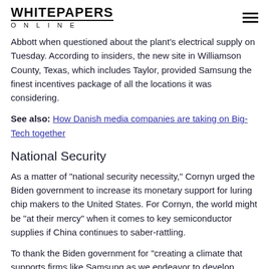WHITEPAPERS ONLINE
Abbott when questioned about the plant's electrical supply on Tuesday. According to insiders, the new site in Williamson County, Texas, which includes Taylor, provided Samsung the finest incentives package of all the locations it was considering.
See also: How Danish media companies are taking on Big-Tech together
National Security
As a matter of "national security necessity," Cornyn urged the Biden government to increase its monetary support for luring chip makers to the United States. For Cornyn, the world might be "at their mercy" when it comes to key semiconductor supplies if China continues to saber-rattling.
To thank the Biden government for "creating a climate that supports firms like Samsung as we endeavor to develop